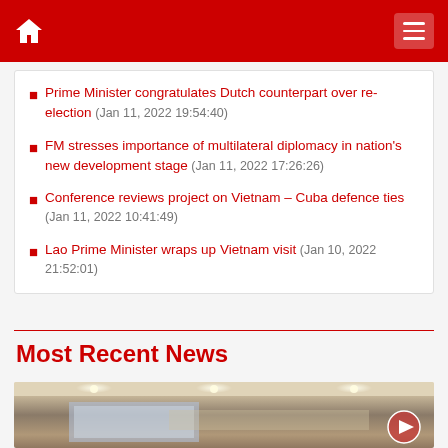Home / Menu
Prime Minister congratulates Dutch counterpart over re-election (Jan 11, 2022 19:54:40)
FM stresses importance of multilateral diplomacy in nation's new development stage (Jan 11, 2022 17:26:26)
Conference reviews project on Vietnam – Cuba defence ties (Jan 11, 2022 10:41:49)
Lao Prime Minister wraps up Vietnam visit (Jan 10, 2022 21:52:01)
Most Recent News
[Figure (photo): Interior of a conference room with ceiling lights and a presentation screen in the background]